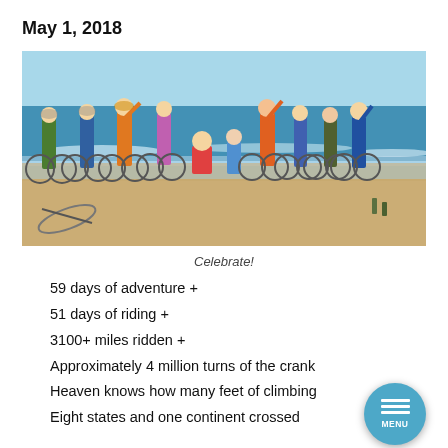May 1, 2018
[Figure (photo): Group of cyclists with their bikes celebrating on a beach, ocean waves in the background, sunny day. People wearing colorful cycling gear, some raising arms in celebration.]
Celebrate!
59 days of adventure +
51 days of riding +
3100+ miles ridden +
Approximately 4 million turns of the crank
Heaven knows how many feet of climbing
Eight states and one continent crossed